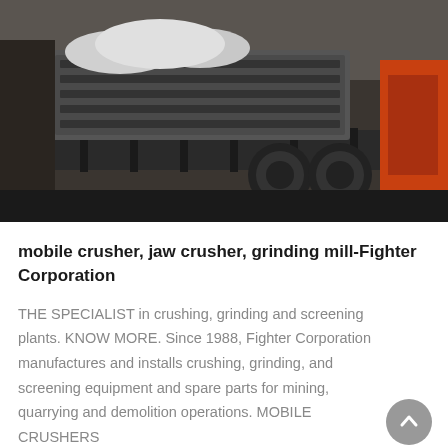[Figure (photo): Industrial mobile crusher equipment on a flatbed truck in a warehouse/yard setting. Large metal conveyor/screen structures visible.]
mobile crusher, jaw crusher, grinding mill-Fighter Corporation
THE SPECIALIST in crushing, grinding and screening plants. KNOW MORE. Since 1988, Fighter Corporation manufactures and installs crushing, grinding, and screening equipment and spare parts for mining, quarrying and demolition operations. MOBILE CRUSHERS
GET PRICE
[Figure (photo): Excavator or heavy machinery working in a quarry or demolition site, partial view cut off at bottom.]